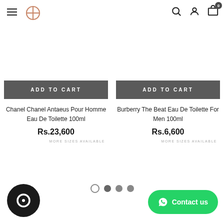Navigation header with hamburger menu, logo, search, account, and cart icons
[Figure (screenshot): ADD TO CART button for Chanel product]
Chanel Chanel Antaeus Pour Homme Eau De Toilette 100ml
Rs.23,600
MORE SIZES AVAILABLE
[Figure (screenshot): ADD TO CART button for Burberry product]
Burberry The Beat Eau De Toilette For Men 100ml
Rs.6,600
MORE SIZES AVAILABLE
[Figure (other): Carousel pagination dots: 1 empty circle, 3 filled circles]
[Figure (other): Chat/messenger icon circle bottom left]
Contact us